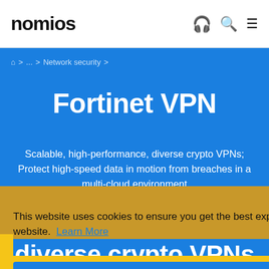nomios
⌂ > ... > Network security >
Fortinet VPN
Scalable, high-performance, diverse crypto VPNs; Protect high-speed data in motion from breaches in a multi-cloud environment
This website uses cookies to ensure you get the best experience on our website. Learn More
I agree
Make a selection
diverse crypto VPNs